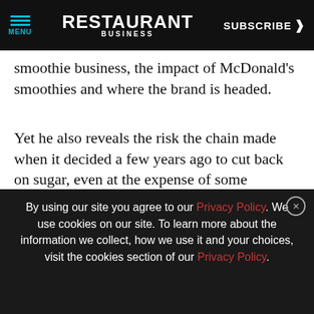MENU | RESTAURANT BUSINESS | SUBSCRIBE >
smoothie business, the impact of McDonald’s smoothies and where the brand is headed.
Yet he also reveals the risk the chain made when it decided a few years ago to cut back on sugar, even at the expense of some customers and even some operators.
Subscribe on Apple Podcasts
Subscribe
[Figure (infographic): Advertisement overlay: blue background ad for ctcheckout.com smart phone payment service. Shows people at table image on left, text about card handling rates, contact email merchants@ctcheckout.com and URL https://ctcheckout.com. Also shows partial reCAPTCHA badge on right.]
By using our site you agree to our Privacy Policy. We use cookies on our site. To learn more about the information we collect, how we use it and your choices, visit the cookies section of our Privacy Policy.